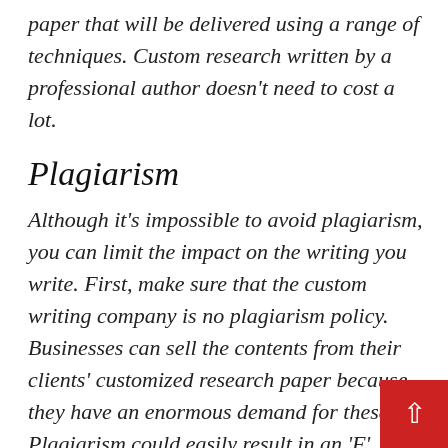paper that will be delivered using a range of techniques. Custom research written by a professional author doesn't need to cost a lot.
Plagiarism
Although it's impossible to avoid plagiarism, you can limit the impact on the writing you write. First, make sure that the custom writing company is no plagiarism policy. Businesses can sell the contents from their clients' customized research paper because they have an enormous demand for these. Plagiarism could easily result in an 'F' grade if the pa you purchase can be deemed to have been